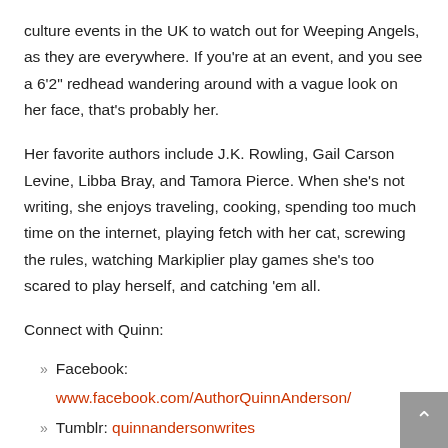culture events in the UK to watch out for Weeping Angels, as they are everywhere. If you're at an event, and you see a 6'2" redhead wandering around with a vague look on her face, that's probably her.
Her favorite authors include J.K. Rowling, Gail Carson Levine, Libba Bray, and Tamora Pierce. When she's not writing, she enjoys traveling, cooking, spending too much time on the internet, playing fetch with her cat, screwing the rules, watching Markiplier play games she's too scared to play herself, and catching 'em all.
Connect with Quinn:
Facebook: www.facebook.com/AuthorQuinnAnderson/
Tumblr: quinnandersonwrites